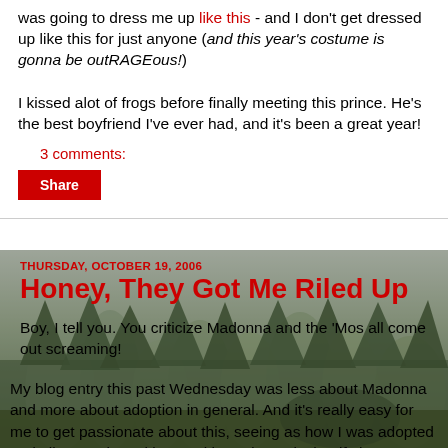was going to dress me up like this - and I don't get dressed up like this for just anyone (and this year's costume is gonna be outRAGEous!)
I kissed alot of frogs before finally meeting this prince. He's the best boyfriend I've ever had, and it's been a great year!
3 comments:
Share
THURSDAY, OCTOBER 19, 2006
Honey, They Got Me Riled Up
Boy, I tell you. You criticize Madonna and the 'Mos all come out screaming!
My blog entry this past Wednesday was less about Madonna and more about adoption in general. And it's really easy for me to get passionate about this, seeing as how I was adopted and all. My only real issue with Madonna is that if she...